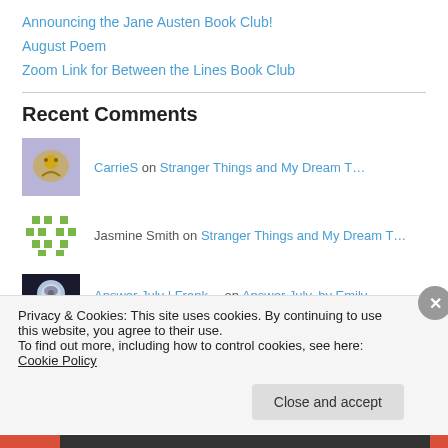Announcing the Jane Austen Book Club!
August Poem
Zoom Link for Between the Lines Book Club
Recent Comments
CarrieS on Stranger Things and My Dream T…
Jasmine Smith on Stranger Things and My Dream T…
Answer July | Frank… on Answer July, by Emily Dickinso…
Privacy & Cookies: This site uses cookies. By continuing to use this website, you agree to their use.
To find out more, including how to control cookies, see here: Cookie Policy
Close and accept